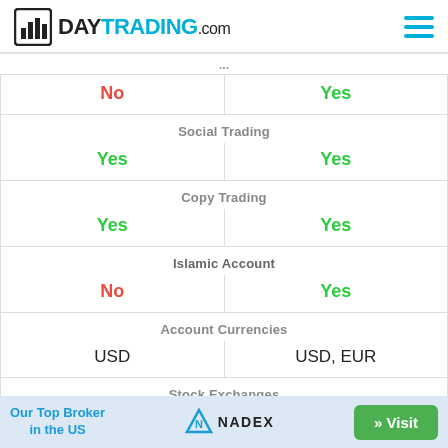DAYTRADING.com
|  |  |
| --- | --- |
| No | Yes |
| Social Trading |  |
| Yes | Yes |
| Copy Trading |  |
| Yes | Yes |
| Islamic Account |  |
| No | Yes |
| Account Currencies |  |
| USD | USD, EUR |
| Stock Exchanges |  |
| Deutsche Boerse, Japan Exchange Group, Nasdaq | Australian Securities Exchange, CAC 40 Index |
Our Top Broker in the US  NADEX  » Visit